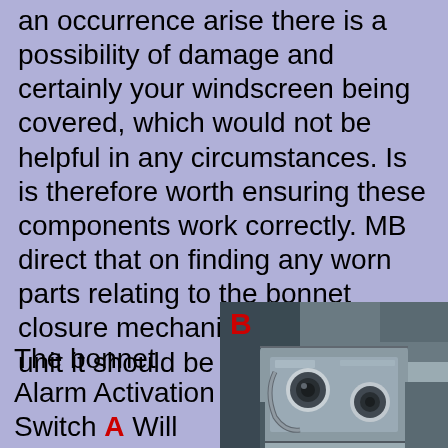an occurrence arise there is a possibility of damage and certainly your windscreen being covered, which would not be helpful in any circumstances. Is is therefore worth ensuring these components work correctly. MB direct that on finding any worn parts relating to the bonnet closure mechanism, then as a unit it should be replaced.
The bonnet Alarm Activation Switch A Will activate the alarm if the bonnet is opened
[Figure (photo): Close-up photo of a bonnet alarm activation switch mechanism, labeled B in red, showing a metal bracket with two circular mounting holes/bolts on a vehicle chassis]